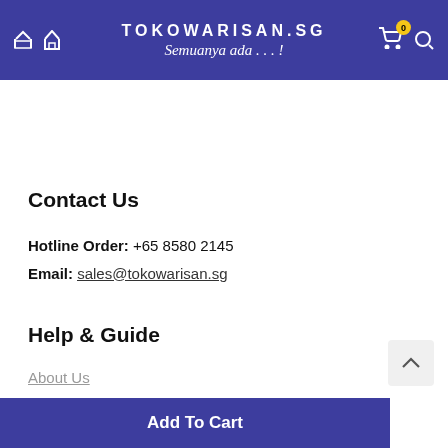TOKOWARISAN.SG Semuanya ada...!
Contact Us
Hotline Order: +65 8580 2145
Email: sales@tokowarisan.sg
Help & Guide
About Us
Frequently Asked Questions
Our Outlets
Add To Cart